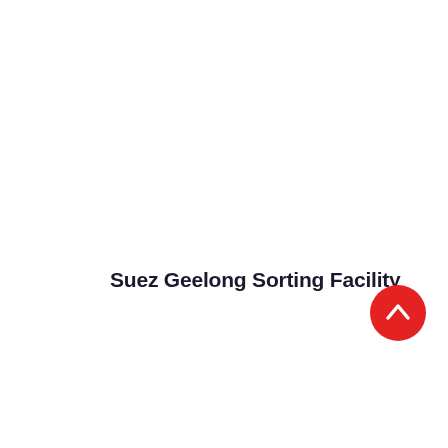Suez Geelong Sorting Facility
[Figure (other): Red circular scroll-to-top button with a white upward chevron arrow icon]